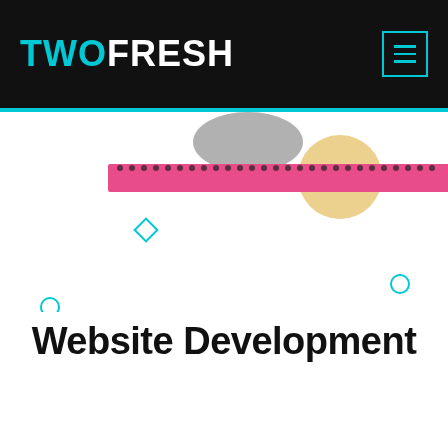[Figure (logo): TWOFRESH logo in black header bar with cyan hamburger menu icon button in top right]
[Figure (illustration): Decorative illustration showing a pink horizontal bar with notebook spiral binding, a grey half-circle shape, and a tan/gold circle. Small cyan diamond outline and small cyan circle decorative elements scattered on white background.]
Website Development